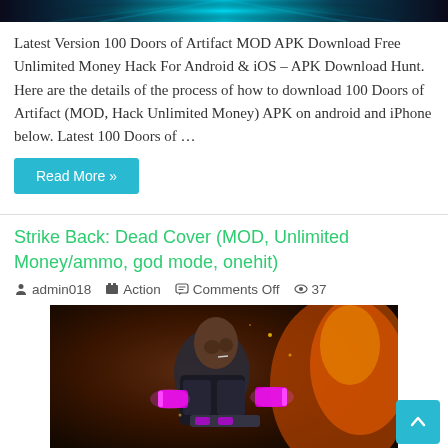[Figure (photo): Top banner image with teal/cyan glowing light effect on dark background, appears to be a game screenshot]
Latest Version 100 Doors of Artifact MOD APK Download Free Unlimited Money Hack For Android & iOS – APK Download Hunt. Here are the details of the process of how to download 100 Doors of Artifact (MOD, Hack Unlimited Money) APK on android and iPhone below. Latest 100 Doors of …
Read More »
Strike Back: Dead Cover (MOD, Unlimited Money/ammo, god mode, onehit)
admin018  Action  Comments Off  37
[Figure (photo): Game character in futuristic armor holding weapons with pink/purple glowing guns, fire and explosion effects in background, action game screenshot]